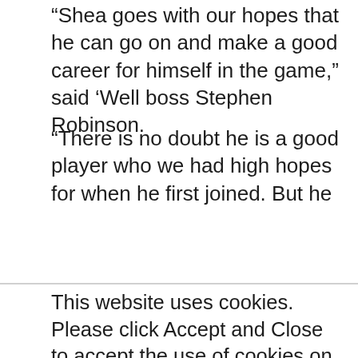“Shea goes with our hopes that he can go on and make a good career for himself in the game,” said ‘Well boss Stephen Robinson.
“There is no doubt he is a good player who we had high hopes for when he first joined. But he
This website uses cookies. Please click Accept and Close to accept the use of cookies on our website. By continuing to browse our website you consent to the use of cookies on this website.
ACCEPT AND CLOSE